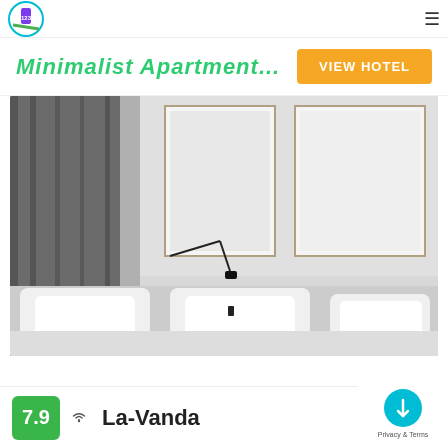Navigation bar with logo and hamburger menu
Minimalist Apartment...
VIEW HOTEL
[Figure (photo): Interior photo of a minimalist apartment bedroom with gray curtains, white pillows, a black reading lamp, and two framed artworks on a white wall]
7.9 La-Vanda